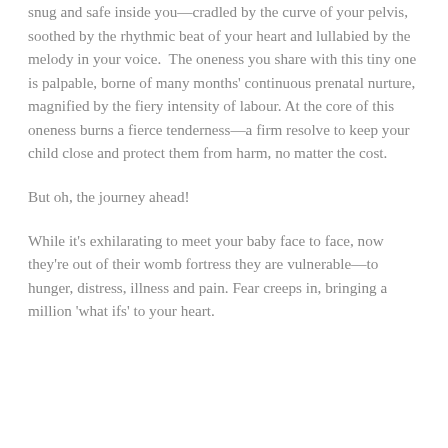snug and safe inside you—cradled by the curve of your pelvis, soothed by the rhythmic beat of your heart and lullabied by the melody in your voice.  The oneness you share with this tiny one is palpable, borne of many months' continuous prenatal nurture, magnified by the fiery intensity of labour. At the core of this oneness burns a fierce tenderness—a firm resolve to keep your child close and protect them from harm, no matter the cost.
But oh, the journey ahead!
While it's exhilarating to meet your baby face to face, now they're out of their womb fortress they are vulnerable—to hunger, distress, illness and pain. Fear creeps in, bringing a million 'what ifs' to your heart.